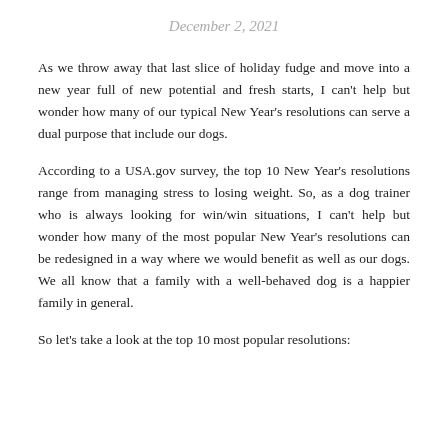December 2, 2021
As we throw away that last slice of holiday fudge and move into a new year full of new potential and fresh starts, I can't help but wonder how many of our typical New Year's resolutions can serve a dual purpose that include our dogs.
According to a USA.gov survey, the top 10 New Year's resolutions range from managing stress to losing weight. So, as a dog trainer who is always looking for win/win situations, I can't help but wonder how many of the most popular New Year's resolutions can be redesigned in a way where we would benefit as well as our dogs. We all know that a family with a well-behaved dog is a happier family in general.
So let's take a look at the top 10 most popular resolutions: